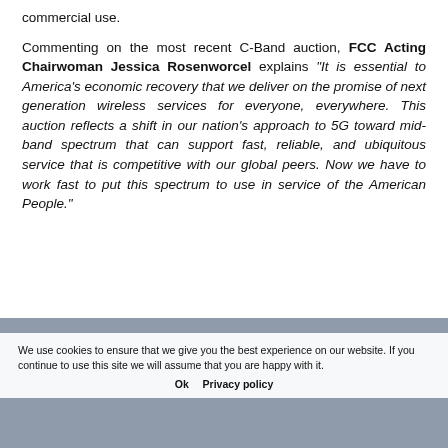commercial use.
Commenting on the most recent C-Band auction, FCC Acting Chairwoman Jessica Rosenworcel explains “It is essential to America’s economic recovery that we deliver on the promise of next generation wireless services for everyone, everywhere. This auction reflects a shift in our nation’s approach to 5G toward mid-band spectrum that can support fast, reliable, and ubiquitous service that is competitive with our global peers. Now we have to work fast to put this spectrum to use in service of the American People.”
We use cookies to ensure that we give you the best experience on our website. If you continue to use this site we will assume that you are happy with it.
Ok  Privacy policy